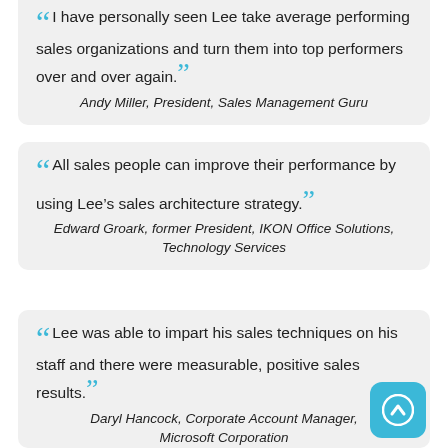“I have personally seen Lee take average performing sales organizations and turn them into top performers over and over again.”
Andy Miller, President, Sales Management Guru
“All sales people can improve their performance by using Lee’s sales architecture strategy.”
Edward Groark, former President, IKON Office Solutions, Technology Services
“Lee was able to impart his sales techniques on his staff and there were measurable, positive sales results.”
Daryl Hancock, Corporate Account Manager, Microsoft Corporation